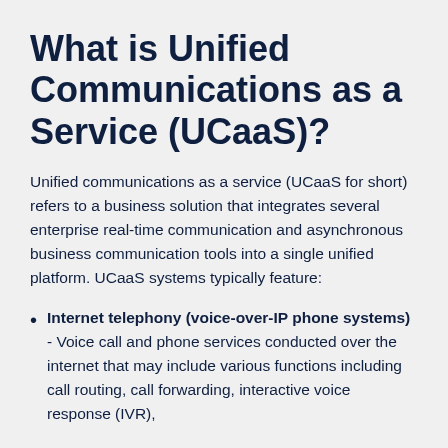What is Unified Communications as a Service (UCaaS)?
Unified communications as a service (UCaaS for short) refers to a business solution that integrates several enterprise real-time communication and asynchronous business communication tools into a single unified platform. UCaaS systems typically feature:
Internet telephony (voice-over-IP phone systems) - Voice call and phone services conducted over the internet that may include various functions including call routing, call forwarding, interactive voice response (IVR),